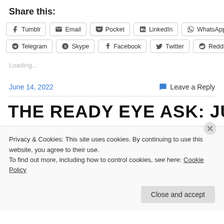Share this:
Tumblr | Email | Pocket | LinkedIn | WhatsApp | Telegram | Skype | Facebook | Twitter | Reddit
Loading...
June 14, 2022   Leave a Reply
THE READY EYE ASK: JUST
Privacy & Cookies: This site uses cookies. By continuing to use this website, you agree to their use.
To find out more, including how to control cookies, see here: Cookie Policy